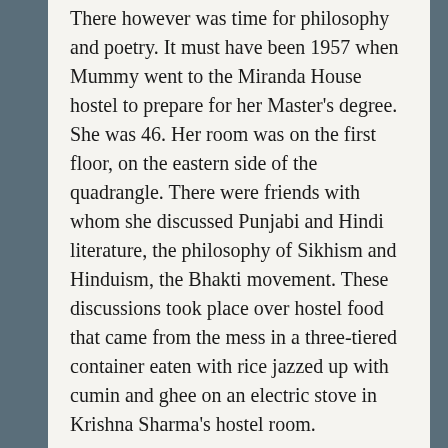There however was time for philosophy and poetry. It must have been 1957 when Mummy went to the Miranda House hostel to prepare for her Master's degree. She was 46. Her room was on the first floor, on the eastern side of the quadrangle. There were friends with whom she discussed Punjabi and Hindi literature, the philosophy of Sikhism and Hinduism, the Bhakti movement. These discussions took place over hostel food that came from the mess in a three-tiered container eaten with rice jazzed up with cumin and ghee on an electric stove in Krishna Sharma's hostel room.
My mother had become friends with Krishna Sharma. She was a historian and went on to do a doctorate on Kabir and the Bhakti